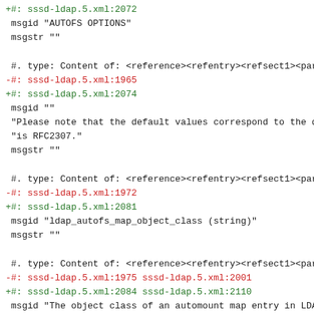+#: sssd-ldap.5.xml:2072
 msgid "AUTOFS OPTIONS"
 msgstr ""

 #. type: Content of: <reference><refentry><refsect1><para>
-#: sssd-ldap.5.xml:1965
+#: sssd-ldap.5.xml:2074
 msgid ""
 "Please note that the default values correspond to the defau"
 "is RFC2307."
 msgstr ""

 #. type: Content of: <reference><refentry><refsect1><para><v
-#: sssd-ldap.5.xml:1972
+#: sssd-ldap.5.xml:2081
 msgid "ldap_autofs_map_object_class (string)"
 msgstr ""

 #. type: Content of: <reference><refentry><refsect1><para><v
-#: sssd-ldap.5.xml:1975 sssd-ldap.5.xml:2001
+#: sssd-ldap.5.xml:2084 sssd-ldap.5.xml:2110
 msgid "The object class of an automount map entry in LDAP."
 msgstr ""

 #. type: Content of: <reference><refentry><refsect1><para><v